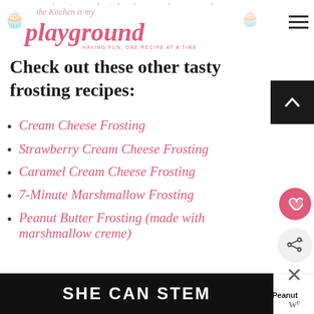the Kitchen is my playground — HAVING FUN, ONE RECIPE AT A TIME
Check out these other tasty frosting recipes:
Cream Cheese Frosting
Strawberry Cream Cheese Frosting
Caramel Cream Cheese Frosting
7-Minute Marshmallow Frosting
Peanut Butter Frosting (made with marshmallow creme)
WHAT'S NEXT → Marbled Peanut Butt...
[Figure (other): SHE CAN STEM advertisement banner at bottom of page]
about any batch of cupcakes or cake.